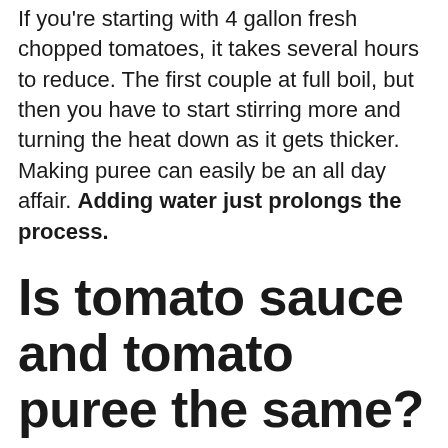If you're starting with 4 gallon fresh chopped tomatoes, it takes several hours to reduce. The first couple at full boil, but then you have to start stirring more and turning the heat down as it gets thicker. Making puree can easily be an all day affair. Adding water just prolongs the process.
Is tomato sauce and tomato puree the same?
Tomato puree is a canned sauce made of cooked, strained tomatoes. It is slightly thicker than tomato sauce, and has a more developed flavor. It's thinner than tomato paste, but fatter in...